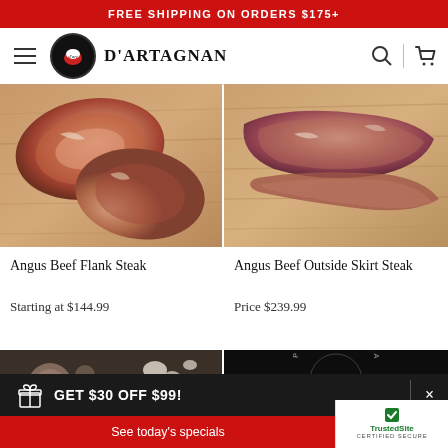FREE SHIPPING ON ORDERS $175+
[Figure (logo): D'Artagnan brand logo with hamburger menu, circular logo mark, brand name, search and cart icons]
[Figure (photo): Angus beef flank steak raw meat on wooden cutting board]
[Figure (photo): Angus beef outside skirt steak raw meat on wooden cutting board]
Angus Beef Flank Steak
Starting at $144.99
Angus Beef Outside Skirt Steak
Price $239.99
[Figure (photo): Ground beef or meat preparation with garlic and herbs on dark background]
[Figure (photo): Dark background with circular script text reading Plan Ahead for Labor Day, Enjoy!]
GET $30 OFF $99!
See today's specials
[Figure (logo): TrustedSite Certified Secure badge]